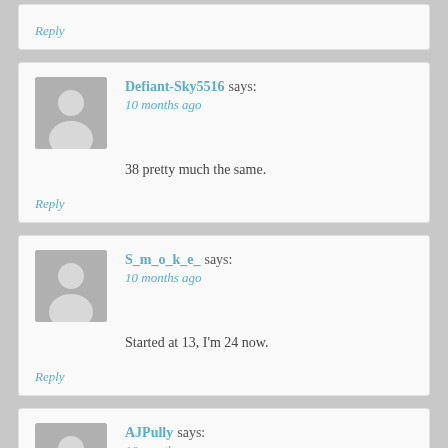Reply
Defiant-Sky5516 says: 10 months ago
38 pretty much the same.
Reply
S_m_o_k_e_ says: 10 months ago
Started at 13, I'm 24 now.
Reply
AJPully says: 10 months ago